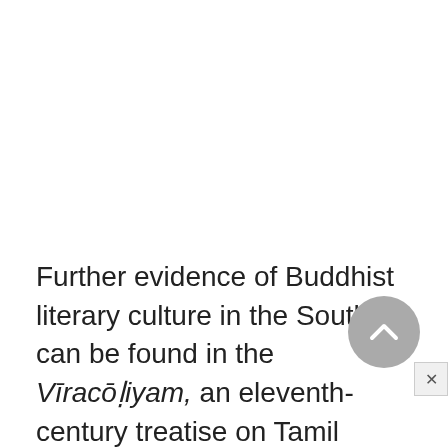Further evidence of Buddhist literary culture in the South can be found in the Vīracōḷiyam, an eleventh-century treatise on Tamil grammar and poetics attributed to Puttamittiran and accompanied by a commentary